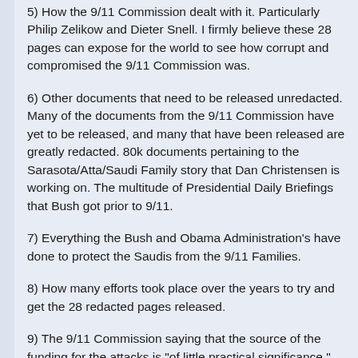5) How the 9/11 Commission dealt with it. Particularly Philip Zelikow and Dieter Snell. I firmly believe these 28 pages can expose for the world to see how corrupt and compromised the 9/11 Commission was.
6) Other documents that need to be released unredacted. Many of the documents from the 9/11 Commission have yet to be released, and many that have been released are greatly redacted. 80k documents pertaining to the Sarasota/Atta/Saudi Family story that Dan Christensen is working on. The multitude of Presidential Daily Briefings that Bush got prior to 9/11.
7) Everything the Bush and Obama Administration's have done to protect the Saudis from the 9/11 Families.
8) How many efforts took place over the years to try and get the 28 redacted pages released.
9) The 9/11 Commission saying that the source of the funding for the attacks is "of little practical significance."